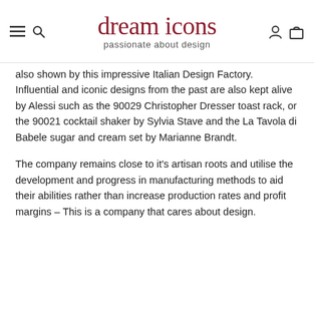dream icons — passionate about design
also shown by this impressive Italian Design Factory. Influential and iconic designs from the past are also kept alive by Alessi such as the 90029 Christopher Dresser toast rack, or the 90021 cocktail shaker by Sylvia Stave and the La Tavola di Babele sugar and cream set by Marianne Brandt.
The company remains close to it's artisan roots and utilise the development and progress in manufacturing methods to aid their abilities rather than increase production rates and profit margins – This is a company that cares about design.